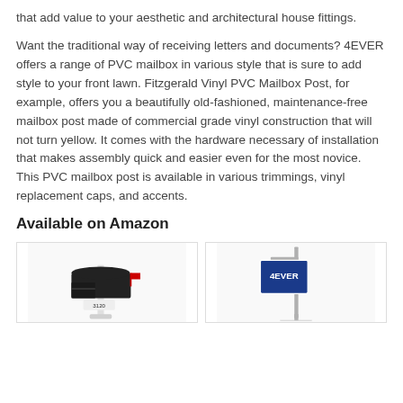that add value to your aesthetic and architectural house fittings.
Want the traditional way of receiving letters and documents? 4EVER offers a range of PVC mailbox in various style that is sure to add style to your front lawn. Fitzgerald Vinyl PVC Mailbox Post, for example, offers you a beautifully old-fashioned, maintenance-free mailbox post made of commercial grade vinyl construction that will not turn yellow. It comes with the hardware necessary of installation that makes assembly quick and easier even for the most novice. This PVC mailbox post is available in various trimmings, vinyl replacement caps, and accents.
Available on Amazon
[Figure (photo): Black traditional mailbox with white post, number 3120 visible on the mailbox.]
[Figure (photo): 4EVER branded sign/banner on a post, blue sign visible.]